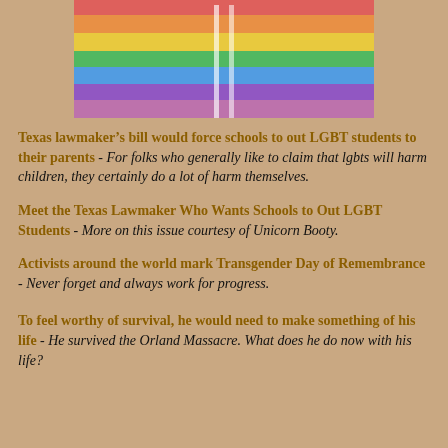[Figure (photo): A rainbow pride flag waving against a blue sky with clouds]
Texas lawmaker’s bill would force schools to out LGBT students to their parents - For folks who generally like to claim that lgbts will harm children, they certainly do a lot of harm themselves.
Meet the Texas Lawmaker Who Wants Schools to Out LGBT Students - More on this issue courtesy of Unicorn Booty.
Activists around the world mark Transgender Day of Remembrance - Never forget and always work for progress.
To feel worthy of survival, he would need to make something of his life - He survived the Orland Massacre. What does he do now with his life?